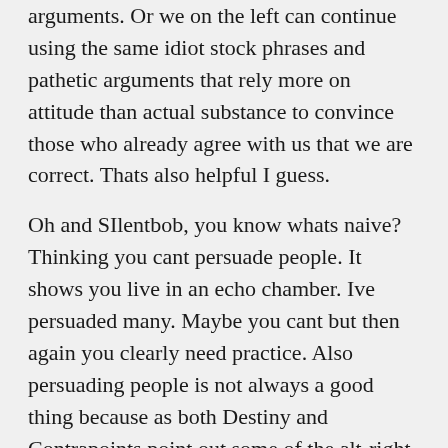arguments. Or we on the left can continue using the same idiot stock phrases and pathetic arguments that rely more on attitude than actual substance to convince those who already agree with us that we are correct. Thats also helpful I guess.
Oh and SIlentbob, you know whats naive? Thinking you cant persuade people. It shows you live in an echo chamber. Ive persuaded many. Maybe you cant but then again you clearly need practice. Also persuading people is not always a good thing because as both Destiny and Contrapoints point out some of the alt-right they've de radicalized were never really de radicalized, they just became commies. But for the most part there is a net positive with the aforementioned centrists or fence sitters. Or are you one of those purity idiots who thinks everyone is 100% a Nazi if the vote for Trump or